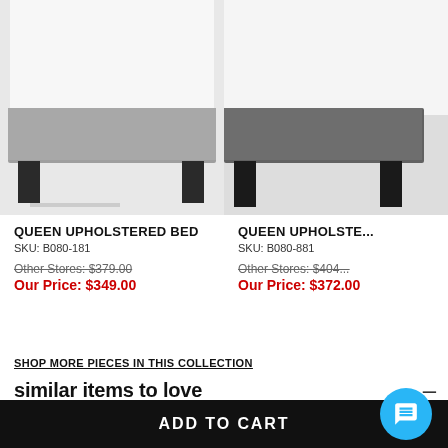[Figure (photo): Photo of grey upholstered queen bed showing footboard and legs, cropped to bottom portion]
[Figure (photo): Photo of dark charcoal upholstered queen bed showing footboard and legs, cropped to bottom portion, partial view]
QUEEN UPHOLSTERED BED
SKU: B080-181
Other Stores: $379.00
Our Price: $349.00
QUEEN UPHOLSTE...
SKU: B080-881
Other Stores: $404...
Our Price: $372.00
SHOP MORE PIECES IN THIS COLLECTION
similar items to love
[Figure (photo): Partial bottom view of a dark bed frame]
[Figure (photo): Partial view of grey upholstered headboard]
ADD TO CART